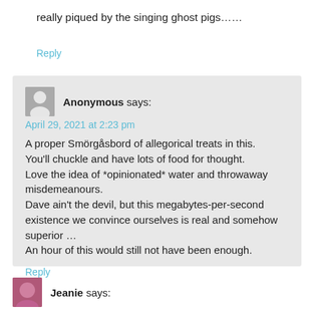really piqued by the singing ghost pigs……
Reply
Anonymous says:
April 29, 2021 at 2:23 pm
A proper Smörgåsbord of allegorical treats in this. You'll chuckle and have lots of food for thought. Love the idea of *opinionated* water and throwaway misdemeanours.
Dave ain't the devil, but this megabytes-per-second existence we convince ourselves is real and somehow superior …
An hour of this would still not have been enough.
Reply
Jeanie says: